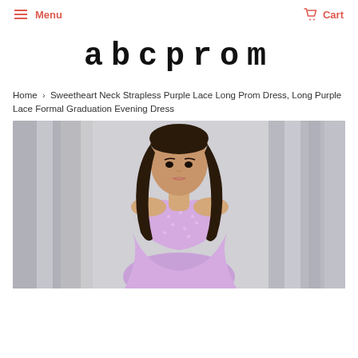Menu   Cart
[Figure (logo): abcprom logo in large bold serif/monospace font]
Home › Sweetheart Neck Strapless Purple Lace Long Prom Dress, Long Purple Lace Formal Graduation Evening Dress
[Figure (photo): A young woman with long dark hair wearing a lavender/purple strapless sweetheart neck lace prom dress, standing in front of silver curtains]